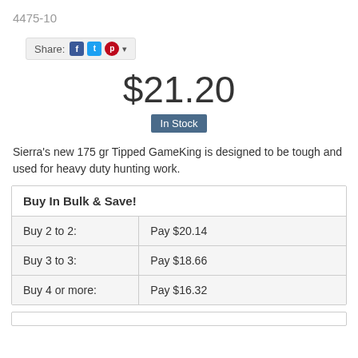4475-10
[Figure (other): Share bar with Facebook, Twitter, Pinterest icons and dropdown arrow]
$21.20
In Stock
Sierra's new 175 gr Tipped GameKing is designed to be tough and used for heavy duty hunting work.
| Buy In Bulk & Save! |
| --- |
| Buy 2 to 2: | Pay $20.14 |
| Buy 3 to 3: | Pay $18.66 |
| Buy 4 or more: | Pay $16.32 |